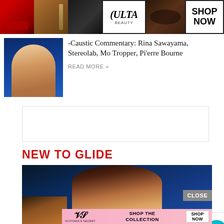[Figure (screenshot): ULTA Beauty advertisement banner with makeup imagery and SHOP NOW button]
Caustic Commentary: Rina Sawayama, Stereolab, Mo Tropper, Pi'erre Bourne
READ MORE »
[Figure (screenshot): Advertisement: 37 BEAUTY PRODUCTS WITH SUCH GOOD REVIEWS YOU MIGHT WANT TO TRY THEM YOURSELF]
NEW TO GLIDE
[Figure (photo): Fashion model photo with Victoria's Secret advertisement overlay showing SHOP THE COLLECTION and SHOP NOW button]